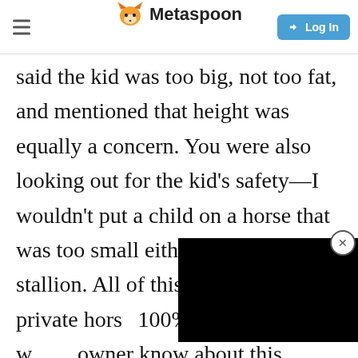Metaspoon
said the kid was too big, not too fat, and mentioned that height was equally a concern. You were also looking out for the kid's safety—I wouldn't put a child on a horse that was too small either, let alone a stallion. All of this pl[aces...] it's your private hors[e...] 100% the jerk and I w[ould let the] owner know about this incident if you haven't already.